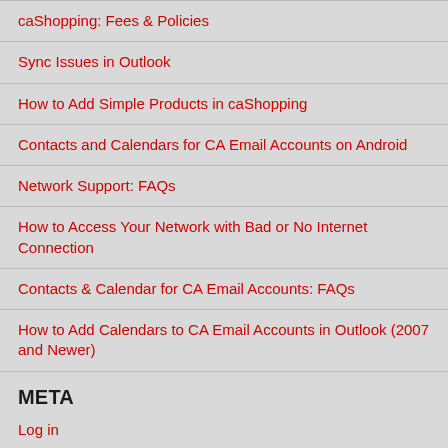caShopping: Fees & Policies
Sync Issues in Outlook
How to Add Simple Products in caShopping
Contacts and Calendars for CA Email Accounts on Android
Network Support: FAQs
How to Access Your Network with Bad or No Internet Connection
Contacts & Calendar for CA Email Accounts: FAQs
How to Add Calendars to CA Email Accounts in Outlook (2007 and Newer)
META
Log in